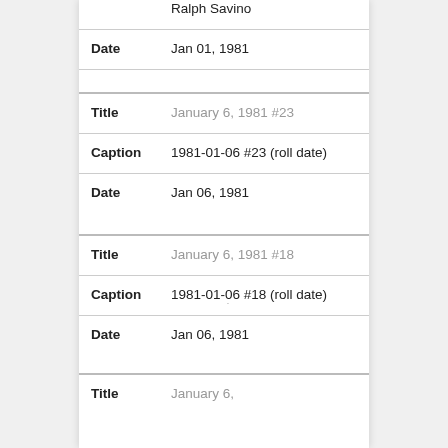| Field | Value |
| --- | --- |
|  | Ralph Savino |
| Date | Jan 01, 1981 |
| Title | January 6, 1981 #23 |
| Caption | 1981-01-06 #23 (roll date) |
| Date | Jan 06, 1981 |
| Title | January 6, 1981 #18 |
| Caption | 1981-01-06 #18 (roll date) |
| Date | Jan 06, 1981 |
| Title | January 6, ... |